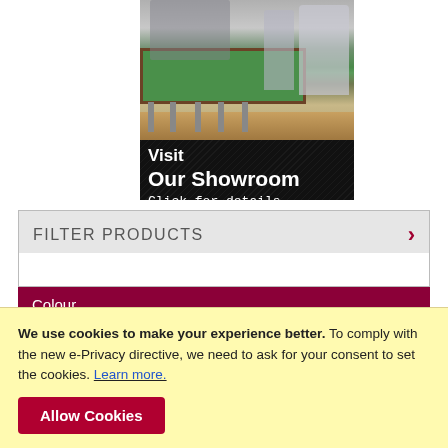[Figure (photo): Showroom photo showing gym equipment, a green pool table, and foosball table in a retail showroom]
Visit
Our Showroom
Click for details
FILTER PRODUCTS
Colour
We use cookies to make your experience better. To comply with the new e-Privacy directive, we need to ask for your consent to set the cookies. Learn more.
Allow Cookies